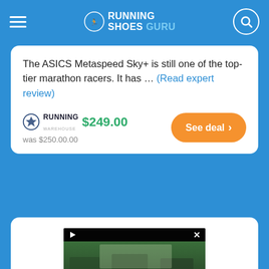Running Shoes Guru
The ASICS Metaspeed Sky+ is still one of the top-tier marathon racers. It has ... (Read expert review)
Running Warehouse $249.00 was $250.00.00
See deal
[Figure (screenshot): Video player showing men in tropical floral shirts at an outdoor pavilion with palm trees. Has play icon top-left, close X top-right, pause and volume icons in bottom bar.]